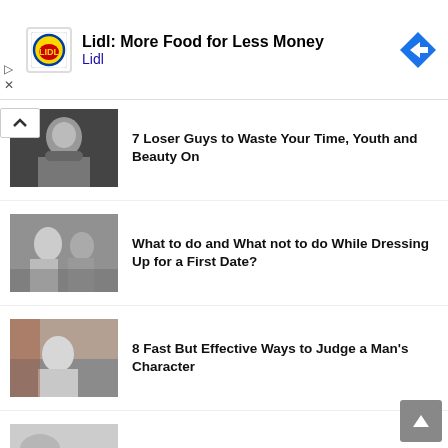[Figure (infographic): Lidl advertisement banner with Lidl logo (yellow and red circle), title 'Lidl: More Food for Less Money', subtitle 'Lidl', and a blue diamond navigation icon on the right. Play and close (X) controls on the left.]
7 Loser Guys to Waste Your Time, Youth and Beauty On
What to do and What not to do While Dressing Up for a First Date?
8 Fast But Effective Ways to Judge a Man's Character
4 Awkward Dating Moments & How To Handle Them